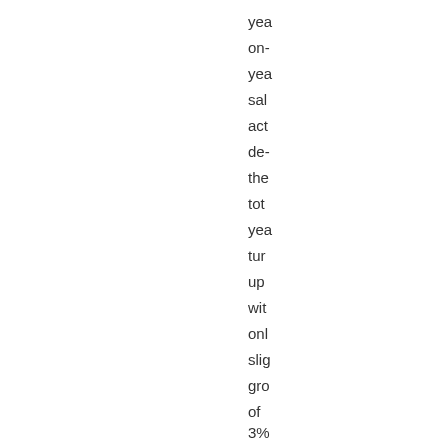yea
on-
yea
sal
act
de-
the
tot
yea
tur
up
wit
onl
slig
gro
of
3%